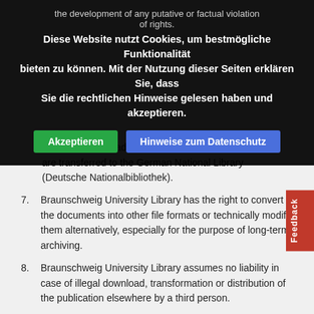the development of any putative or factual violation of rights.
Diese Website nutzt Cookies, um bestmögliche Funktionalität bieten zu können. Mit der Nutzung dieser Seiten erklären Sie, dass Sie die rechtlichen Hinweise gelesen haben und akzeptieren.
Akzeptieren | Hinweise zum Datenschutz
University Library as well as in catalogues of other institutions, particularly to present the works within the scope of the mandatory disposal of web-based publications, metadata and electronic documents are transferred to the German National Library (Deutsche Nationalbibliothek).
7. Braunschweig University Library has the right to convert the documents into other file formats or technically modify them alternatively, especially for the purpose of long-term archiving.
8. Braunschweig University Library assumes no liability in case of illegal download, transformation or distribution of the publication elsewhere by a third person.